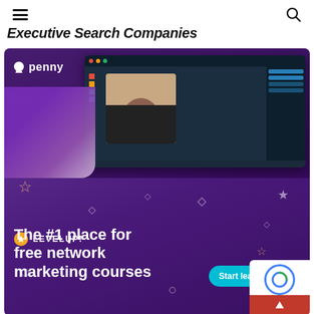Executive Search Companies
[Figure (illustration): Advertisement for Penny LevelUp! platform showing a person using a laptop with the Penny app open. Text reads: The #1 place for free network marketing courses. Start learning button visible. Purple background with decorative stars and diamonds.]